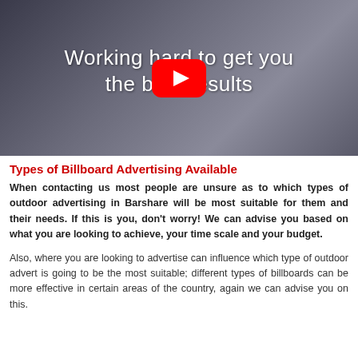[Figure (screenshot): YouTube video thumbnail showing people working at computers with text overlay 'Working hard to get you the best results' and a YouTube play button in the center]
Types of Billboard Advertising Available
When contacting us most people are unsure as to which types of outdoor advertising in Barshare will be most suitable for them and their needs. If this is you, don't worry! We can advise you based on what you are looking to achieve, your time scale and your budget.
Also, where you are looking to advertise can influence which type of outdoor advert is going to be the most suitable; different types of billboards can be more effective in certain areas of the country, again we can advise you on this.